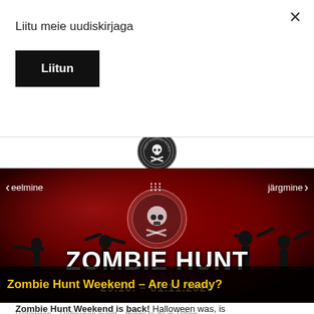Liitu meie uudiskirjaga
Liitun
[Figure (logo): Ghost Tactics / Orbi Shooting Range circular logo in black and white]
[Figure (photo): Zombie Hunt Weekend banner with red smoky background, zombie silhouettes, Ghost Tactics skull logo, navigation arrows (eelmine / järgmine), large text ZOMBIE HUNT 29.10. - 01.11.2020]
Zombie Hunt Weekend – Are U ready?
Halloween    Halloween event    things to do in Tallinn    Zombie Hunt    Zombie movies
Zombie Hunt Weekend is back! Halloween was, is